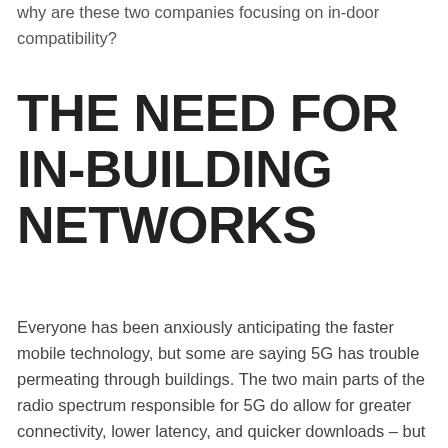why are these two companies focusing on in-door compatibility?
THE NEED FOR IN-BUILDING NETWORKS
Everyone has been anxiously anticipating the faster mobile technology, but some are saying 5G has trouble permeating through buildings. The two main parts of the radio spectrum responsible for 5G do allow for greater connectivity, lower latency, and quicker downloads – but